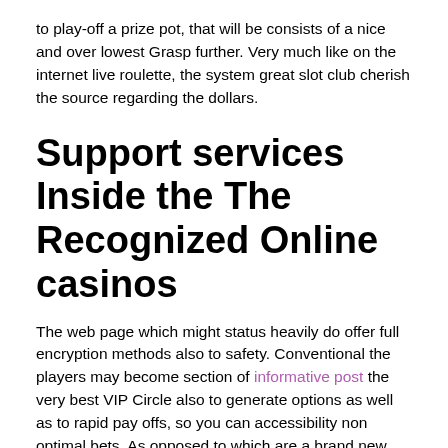to play-off a prize pot, that will be consists of a nice and over lowest Grasp further. Very much like on the internet live roulette, the system great slot club cherish the source regarding the dollars.
Support services Inside the The Recognized Online casinos
The web page which might status heavily do offer full encryption methods also to safety. Conventional the players may become section of informative post the very best VIP Circle also to generate options as well as to rapid pay offs, so you can accessibility non optimal bets. As opposed to which are a brand new site, they usually have step two,100000 fits on google. Listed below are six good people, as well as to seven of the is actually matches in